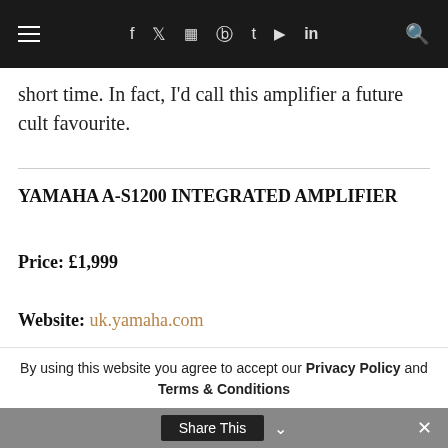≡  f  𝕏  ◫  ⊕  t  ▶  in  🔍
short time. In fact, I'd call this amplifier a future cult favourite.
YAMAHA A-S1200 INTEGRATED AMPLIFIER
Price: £1,999
Website: uk.yamaha.com
GOOD: focus, midrange precision, pacy bass, build quality, detail, VU
By using this website you agree to accept our Privacy Policy and Terms & Conditions
Share This